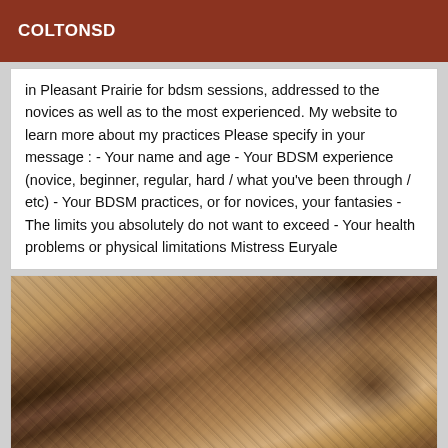COLTONSD
in Pleasant Prairie for bdsm sessions, addressed to the novices as well as to the most experienced. My website to learn more about my practices Please specify in your message : - Your name and age - Your BDSM experience (novice, beginner, regular, hard / what you've been through / etc) - Your BDSM practices, or for novices, your fantasies - The limits you absolutely do not want to exceed - Your health problems or physical limitations Mistress Euryale
[Figure (photo): Photo of a person wearing a patterned sleeveless dress, standing indoors]